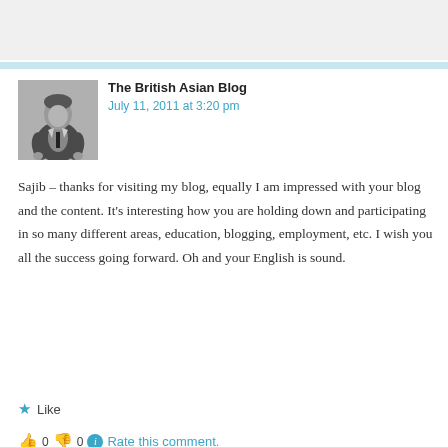[Figure (photo): Black and white photo of a man in a suit]
The British Asian Blog
July 11, 2011 at 3:20 pm
Sajib – thanks for visiting my blog, equally I am impressed with your blog and the content. It's interesting how you are holding down and participating in so many different areas, education, blogging, employment, etc. I wish you all the success going forward. Oh and your English is sound.
★ Like
👍 0 👎 0 ℹ Rate this comment.
REPLY